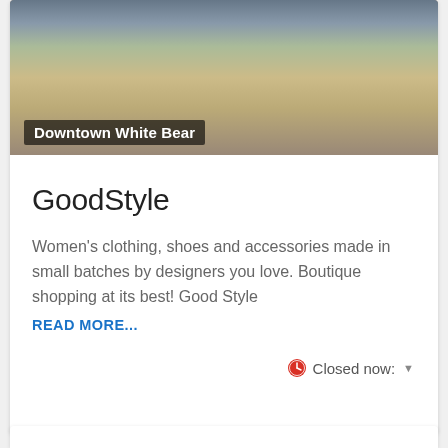[Figure (photo): Photo of a retail shop interior/exterior with warm lighting, shelving and displays visible. Caption overlay reads 'Downtown White Bear'.]
Downtown White Bear
GoodStyle
Women's clothing, shoes and accessories made in small batches by designers you love. Boutique shopping at its best! Good Style
READ MORE...
Closed now: